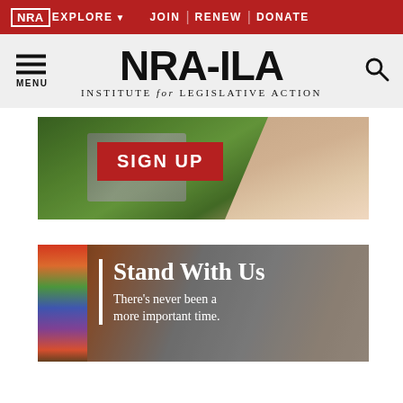NRA EXPLORE ▾  JOIN | RENEW | DONATE
NRA-ILA INSTITUTE for LEGISLATIVE ACTION
[Figure (photo): Photo banner of people with laptop outdoors with a red SIGN UP button overlay]
[Figure (photo): Photo banner of two young women smiling with colorful graffiti background, text overlay reading Stand With Us - There's never been a more important time.]